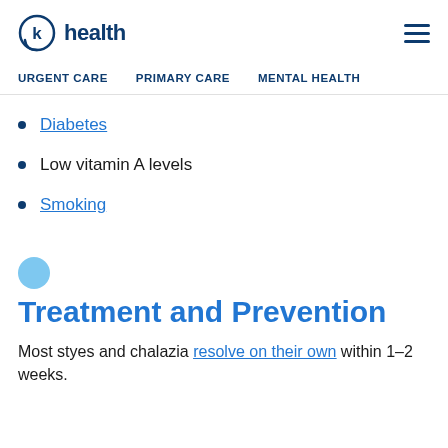k health
Diabetes
Low vitamin A levels
Smoking
Treatment and Prevention
Most styes and chalazia resolve on their own within 1–2 weeks.